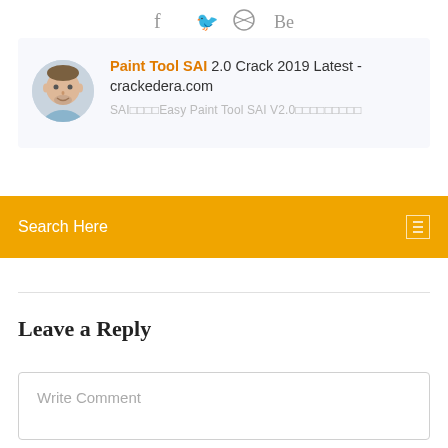[Figure (other): Social media icons row: Facebook (f), Twitter bird, Dribbble, Behance (Be)]
[Figure (other): Article card with circular avatar of a man and title: Paint Tool SAI 2.0 Crack 2019 Latest - crackedera.com, with subtitle text partially visible]
Search Here
Leave a Reply
Write Comment